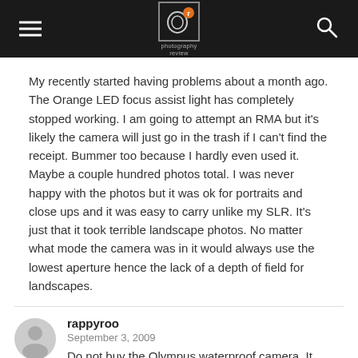photography review
My recently started having problems about a month ago. The Orange LED focus assist light has completely stopped working. I am going to attempt an RMA but it's likely the camera will just go in the trash if I can't find the receipt. Bummer too because I hardly even used it. Maybe a couple hundred photos total. I was never happy with the photos but it was ok for portraits and close ups and it was easy to carry unlike my SLR. It's just that it took terrible landscape photos. No matter what mode the camera was in it would always use the lowest aperture hence the lack of a depth of field for landscapes.
rappyroo
September 3, 2009
Do not buy the Olympus waterproof camera. It freezes up when you want to snap a picture and the only way